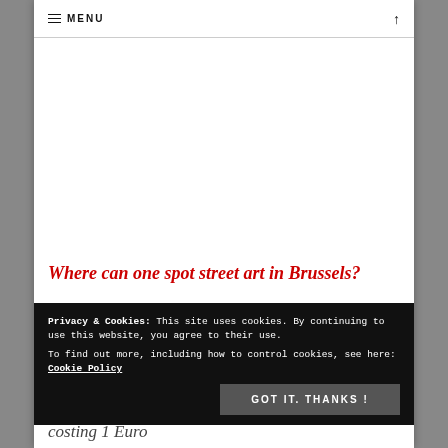MENU ↑
Where can one spot street art in Brussels?
Privacy & Cookies: This site uses cookies. By continuing to use this website, you agree to their use.
To find out more, including how to control cookies, see here: Cookie Policy
GOT IT. THANKS !
costing 1 Euro